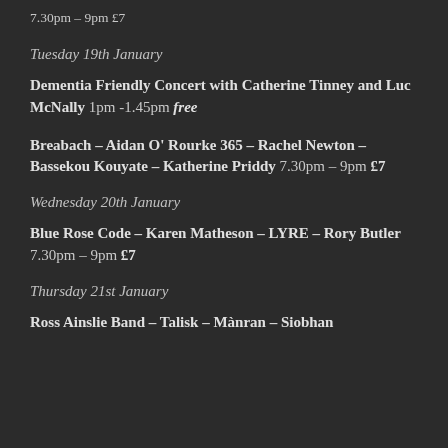7.30pm – 9pm £7
Tuesday 19th January
Dementia Friendly Concert with Catherine Tinney and Luc McNally 1pm -1.45pm free
Breabach – Aidan O' Rourke 365 – Rachel Newton – Bassekou Kouyate – Katherine Priddy 7.30pm – 9pm £7
Wednesday 20th January
Blue Rose Code – Karen Matheson – LYRE – Rory Butler 7.30pm – 9pm £7
Thursday 21st January
Ross Ainslie Band – Talisk – Mànran – Siobhan